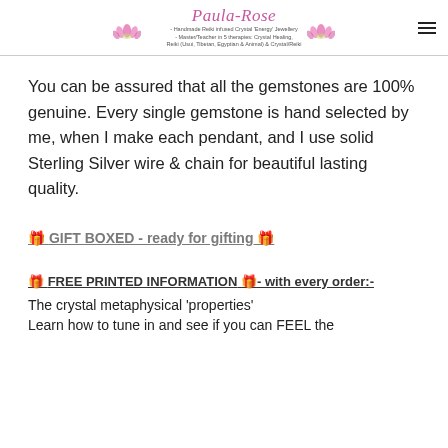Paula-Rose - Handmade Reiki Infused Crystal 'Energy' Jewellery - Master/Teacher in 5 therapies: Crystal Healing, Reiki (Usui, Tibetan, Egyptian & Animal) & Crystal/Reiki
You can be assured that all the gemstones are 100% genuine. Every single gemstone is hand selected by me, when I make each pendant, and I use solid Sterling Silver wire & chain for beautiful lasting quality.
🎁 GIFT BOXED - ready for gifting 🎁
🎁 FREE PRINTED INFORMATION 🎁- with every order:-
The crystal metaphysical 'properties'
Learn how to tune in and see if you can FEEL the